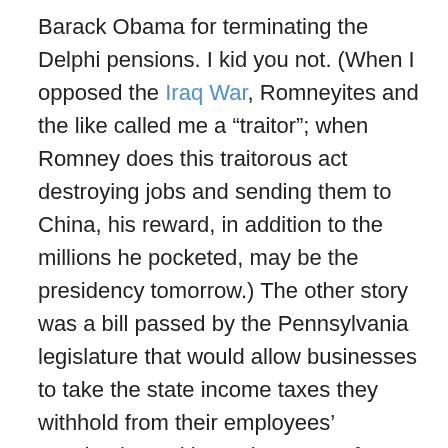Barack Obama for terminating the Delphi pensions. I kid you not. (When I opposed the Iraq War, Romneyites and the like called me a “traitor”; when Romney does this traitorous act destroying jobs and sending them to China, his reward, in addition to the millions he pocketed, may be the presidency tomorrow.) The other story was a bill passed by the Pennsylvania legislature that would allow businesses to take the state income taxes they withhold from their employees’ paychecks and keep the money for themselves! That’s right. Your taxes that you pay to the state won’t go to the state anymore — they’ll just go right into the pockets of your bosses. I was stunned to find out that other states are already doing this as an “incentive” to lure or keep businesses in their states. Let’s be clear what this is about: the final merging that’s taking place between the corporate and political power structures, coming